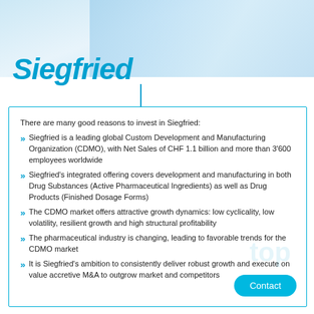[Figure (photo): Light blue/white background photo of laboratory or medical setting]
Siegfried
There are many good reasons to invest in Siegfried:
Siegfried is a leading global Custom Development and Manufacturing Organization (CDMO), with Net Sales of CHF 1.1 billion and more than 3'600 employees worldwide
Siegfried's integrated offering covers development and manufacturing in both Drug Substances (Active Pharmaceutical Ingredients) as well as Drug Products (Finished Dosage Forms)
The CDMO market offers attractive growth dynamics: low cyclicality, low volatility, resilient growth and high structural profitability
The pharmaceutical industry is changing, leading to favorable trends for the CDMO market
It is Siegfried's ambition to consistently deliver robust growth and execute on value accretive M&A to outgrow market and competitors